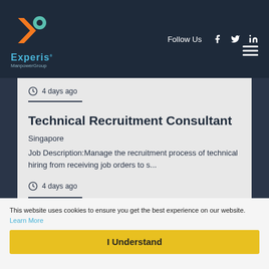[Figure (logo): Experis ManpowerGroup logo with orange and teal X icon]
Follow Us
4 days ago
Technical Recruitment Consultant
Singapore
Job Description:Manage the recruitment process of technical hiring from receiving job orders to s...
4 days ago
This website uses cookies to ensure you get the best experience on our website. Learn More
I Understand